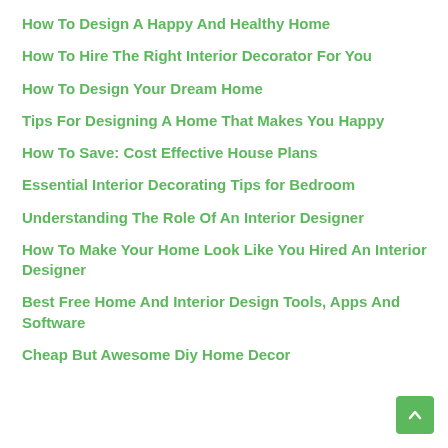How To Design A Happy And Healthy Home
How To Hire The Right Interior Decorator For You
How To Design Your Dream Home
Tips For Designing A Home That Makes You Happy
How To Save: Cost Effective House Plans
Essential Interior Decorating Tips for Bedroom
Understanding The Role Of An Interior Designer
How To Make Your Home Look Like You Hired An Interior Designer
Best Free Home And Interior Design Tools, Apps And Software
Cheap But Awesome Diy Home Decor